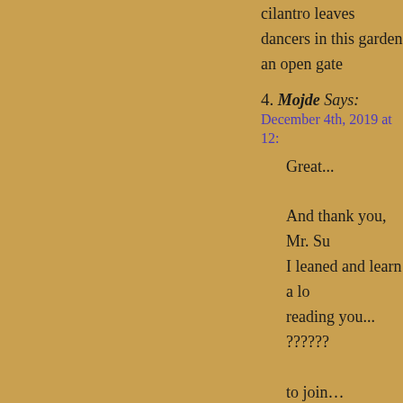cilantro leaves
dancers in this garden
an open gate
4. Mojde Says:
December 4th, 2019 at 12:...
Great...

And thank you, Mr. Su
I leaned and learn a lo
reading you...
??????
to join...
someone else
will be deciding
in your place
5. MaryJo Says:
December 4th, 2019 at 6:...
Thank you Alan for th
makes it for me a very
Thank you Ken as we...